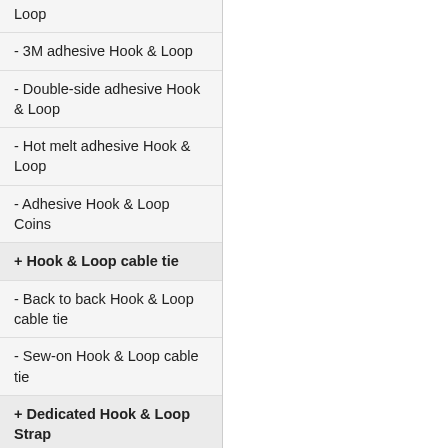Loop
- 3M adhesive Hook & Loop
- Double-side adhesive Hook & Loop
- Hot melt adhesive Hook & Loop
- Adhesive Hook & Loop Coins
+ Hook & Loop cable tie
- Back to back Hook & Loop cable tie
- Sew-on Hook & Loop cable tie
+ Dedicated Hook & Loop Strap
- Hook & Loop Strap
+ Hook & Loop Hair Rollers
- Hook & Loop Hair Curler
+ Nylon Loop
- Nylon Loop Fabric
+ Garment Accessory
- Other Products
- Custom Clothing Patches
- Custom Embroidered Patches